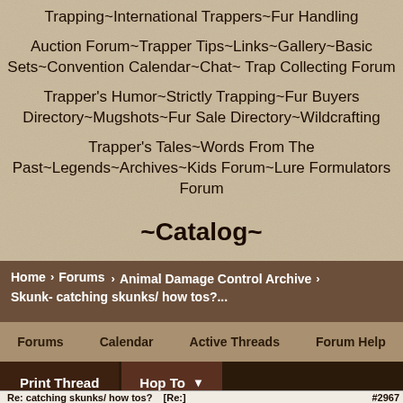Trapping~International Trappers~Fur Handling
Auction Forum~Trapper Tips~Links~Gallery~Basic Sets~Convention Calendar~Chat~ Trap Collecting Forum
Trapper's Humor~Strictly Trapping~Fur Buyers Directory~Mugshots~Fur Sale Directory~Wildcrafting
Trapper's Tales~Words From The Past~Legends~Archives~Kids Forum~Lure Formulators Forum
~Catalog~
Home › Forums › Animal Damage Control Archive › Skunk- catching skunks/ how tos?...
Register   Log In
Forums   Calendar   Active Threads   Forum Help
Print Thread   Hop To
Re: catching skunks/ how tos?   [Re:]   #29679...